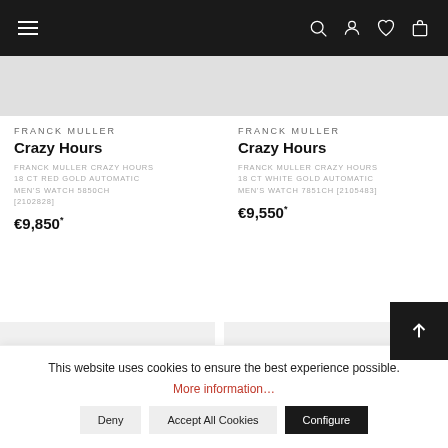Navigation bar with hamburger menu, search, account, wishlist, and cart icons
FRANCK MULLER
Crazy Hours
FRANCK MULLER CRAZY HOURS 18 CT RED GOLD AUTOMATIC MEN'S WATCH 5850CH [2102828]
€9,850*
FRANCK MULLER
Crazy Hours
FRANCK MULLER CRAZY HOURS 18 CT WHITE GOLD AUTOMATIC MEN'S WATCH 7851CH [2105483]
€9,550*
[Figure (other): Product image placeholder left]
[Figure (other): Product image placeholder right]
This website uses cookies to ensure the best experience possible.
More information…
Deny
Accept All Cookies
Configure